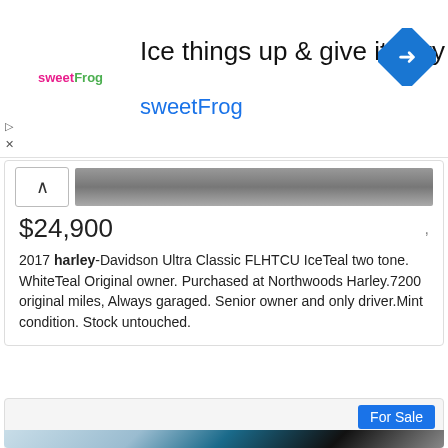[Figure (screenshot): sweetFrog advertisement banner with logo, headline text 'Ice things up & give it a try', brand name 'sweetFrog', and a blue diamond navigation icon on the right]
$24,900
2017 harley-Davidson Ultra Classic FLHTCU IceTeal two tone. WhiteTeal Original owner. Purchased at Northwoods Harley.7200 original miles, Always garaged. Senior owner and only driver.Mint condition. Stock untouched.
For Sale
2017 Harley-Davidson Ultra Classic - $22,999 (MARSHFIELD)
[Figure (photo): Photo of a 2017 Harley-Davidson Ultra Classic motorcycle in a garage, showing the front/side view with blue and white paint, windshield, and handlebars]